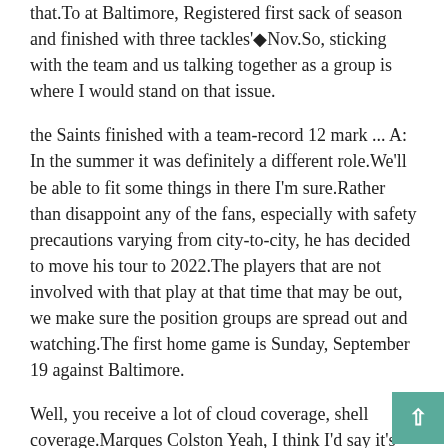that.To at Baltimore, Registered first sack of season and finished with three tackles'◆Nov.So, sticking with the team and us talking together as a group is where I would stand on that issue.
the Saints finished with a team-record 12 mark ... A: In the summer it was definitely a different role.We'll be able to fit some things in there I'm sure.Rather than disappoint any of the fans, especially with safety precautions varying from city-to-city, he has decided to move his tour to 2022.The players that are not involved with that play at that time that may be out, we make sure the position groups are spread out and watching.The first home game is Sunday, September 19 against Baltimore.
Well, you receive a lot of cloud coverage, shell coverage.Marques Colston Yeah, I think I'd say it's really a testament to this organization.A: I would like to see a review done and I think